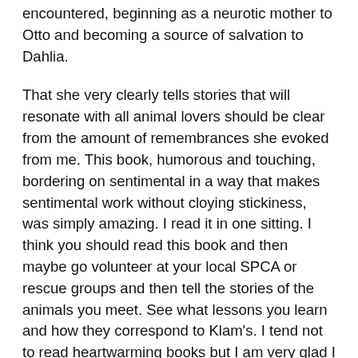encountered, beginning as a neurotic mother to Otto and becoming a source of salvation to Dahlia.
That she very clearly tells stories that will resonate with all animal lovers should be clear from the amount of remembrances she evoked from me. This book, humorous and touching, bordering on sentimental in a way that makes sentimental work without cloying stickiness, was simply amazing. I read it in one sitting. I think you should read this book and then maybe go volunteer at your local SPCA or rescue groups and then tell the stories of the animals you meet. See what lessons you learn and how they correspond to Klam's. I tend not to read heartwarming books but I am very glad I read this one.